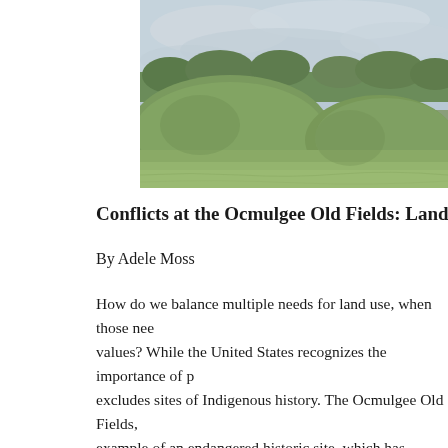[Figure (photo): Outdoor landscape photo showing green grassy mounds or earthworks with trees in the background and a cloudy grey sky above. Likely depicts the Ocmulgee Old Fields archaeological mounds.]
Conflicts at the Ocmulgee Old Fields: Land as Historical, Sa...
By Adele Moss
How do we balance multiple needs for land use, when those needs reflect different values? While the United States recognizes the importance of preserving history, it excludes sites of Indigenous history. The Ocmulgee Old Fields, example of an endangered historic site, which has suffered from development since the 1960s. Although certain organizations have sought protection for "traditional" to the Mo... ...according to the Mo... ...reover, they have sought to detail the...